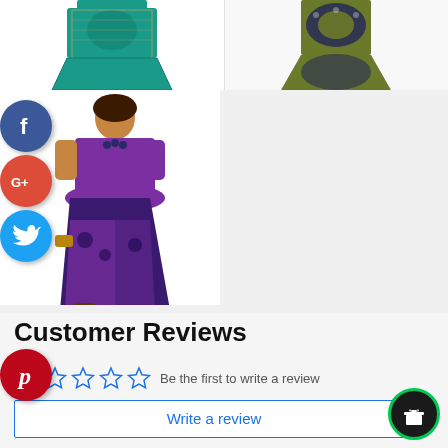[Figure (photo): Two fashion product photos of women's African print dresses - left in teal/turquoise pattern, right in olive/navy pattern]
[Figure (photo): Woman wearing a purple African print two-piece outfit with peplum top and mermaid skirt]
[Figure (infographic): Social media share icons: Facebook (blue), Google+ (red), Twitter (blue), Pinterest (red)]
Customer Reviews
Be the first to write a review
Write a review